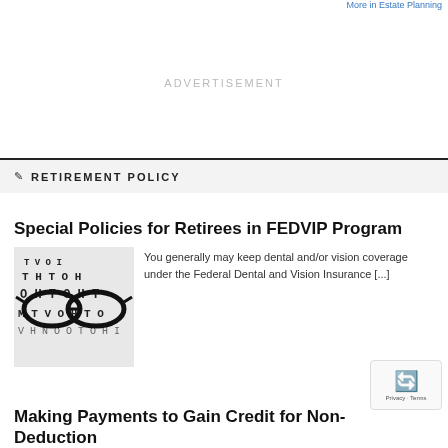More in Estate Planning
ADVERTISEMENT
RETIREMENT POLICY
Special Policies for Retirees in FEDVIP Program
[Figure (photo): Eye chart image with glasses overlaid]
You generally may keep dental and/or vision coverage under the Federal Dental and Vision Insurance [...]
Making Payments to Gain Credit for Non-Deduction